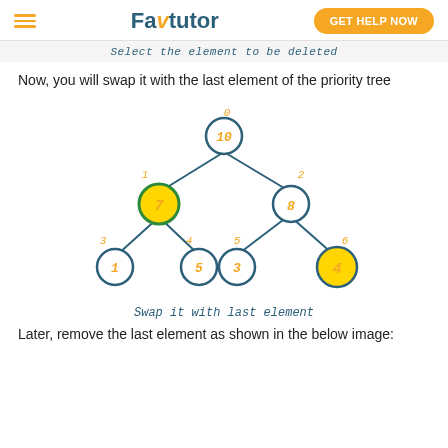FavTutor | GET HELP NOW
Select the element to be deleted
Now, you will swap it with the last element of the priority tree
[Figure (other): Binary heap tree diagram showing nodes: 10 (index 0), 7 (index 1, highlighted yellow with green border), 8 (index 2), 1 (index 3), 5 (index 4), 3 (index 5), 4 (index 6, highlighted yellow). Lines connect parent to children. Orange index numbers above each node.]
Swap it with last element
Later, remove the last element as shown in the below image: